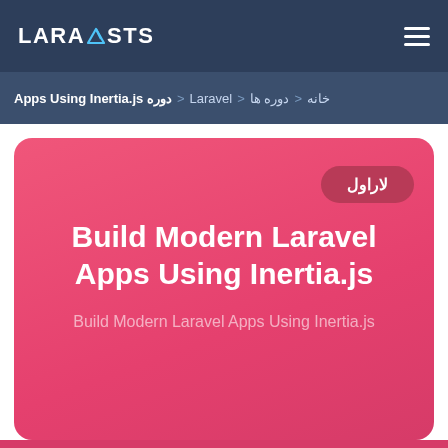LARACASTS
خانه < دوره ها < Laravel < دوره Apps Using Inertia.js
[Figure (screenshot): Pink card with Laravel course title 'Build Modern Laravel Apps Using Inertia.js' on a pink/rose gradient background, with a dark pink badge labeled 'لاراول' (Laravel in Persian), subtitle text, and a bottom teaser line about Inertia.js.]
Inertia.js created by Jonathan Reinink is an incr...